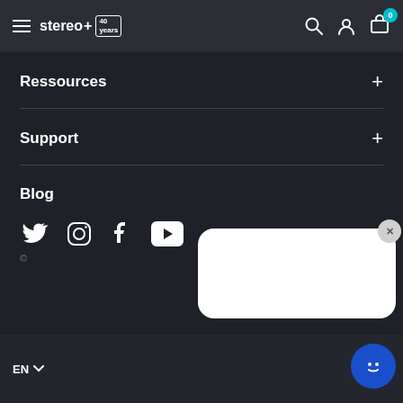stereo+ 40years — navigation header with search, account, and cart (0 items)
Ressources
Support
Blog
[Figure (illustration): Social media icons: Twitter, Instagram, Facebook, YouTube]
EN — language selector